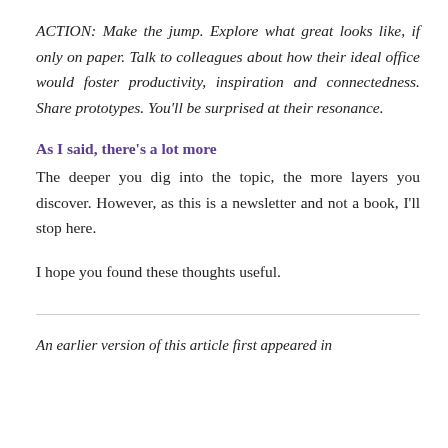ACTION: Make the jump. Explore what great looks like, if only on paper. Talk to colleagues about how their ideal office would foster productivity, inspiration and connectedness. Share prototypes. You'll be surprised at their resonance.
As I said, there's a lot more
The deeper you dig into the topic, the more layers you discover. However, as this is a newsletter and not a book, I'll stop here.
I hope you found these thoughts useful.
An earlier version of this article first appeared in